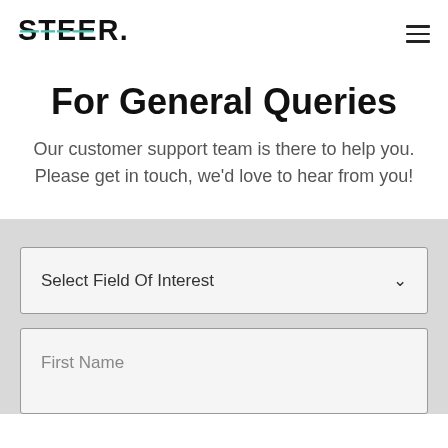[Figure (logo): STEER logo with teal/green horizontal lines through letters S, T, E, R]
For General Queries
Our customer support team is there to help you. Please get in touch, we'd love to hear from you!
Select Field Of Interest
First Name